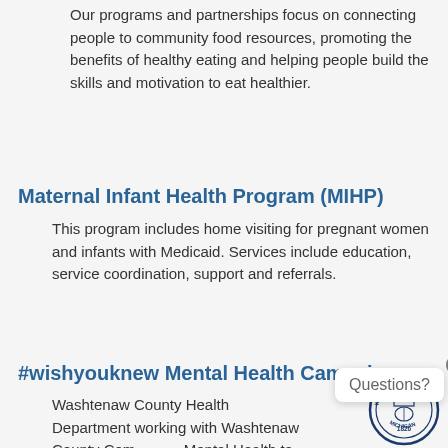Our programs and partnerships focus on connecting people to community food resources, promoting the benefits of healthy eating and helping people build the skills and motivation to eat healthier.
Maternal Infant Health Program (MIHP)
This program includes home visiting for pregnant women and infants with Medicaid. Services include education, service coordination, support and referrals.
#wishyouknew Mental Health Campaign
Washtenaw County Health Department working with Washtenaw County Community Mental Health to develop and launch a county-wide campaign to reduce stigma around mental health.
[Figure (logo): Washtenaw County Michigan seal, circular emblem with crown, 1826]
Questions?